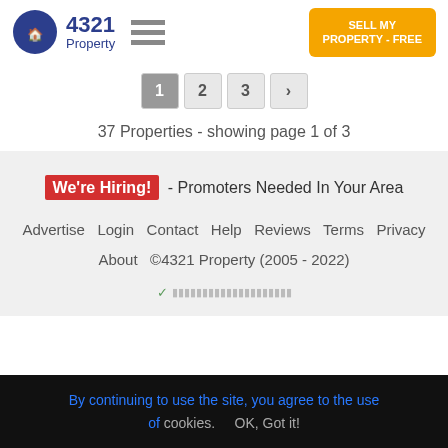4321 Property
37 Properties - showing page 1 of 3
We're Hiring! - Promoters Needed In Your Area
Advertise Login Contact Help Reviews Terms Privacy About ©4321 Property (2005 - 2022)
By continuing to use the site, you agree to the use of cookies. OK, Got it!